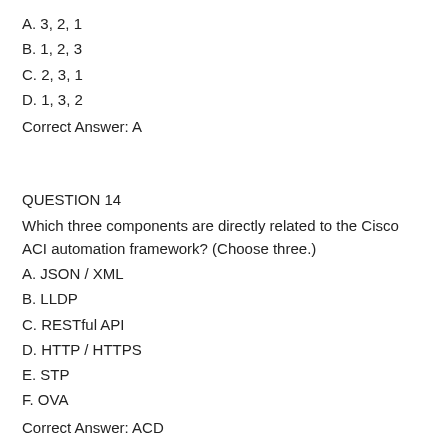A. 3, 2, 1
B. 1, 2, 3
C. 2, 3, 1
D. 1, 3, 2
Correct Answer: A
QUESTION 14
Which three components are directly related to the Cisco ACI automation framework? (Choose three.)
A. JSON / XML
B. LLDP
C. RESTful API
D. HTTP / HTTPS
E. STP
F. OVA
Correct Answer: ACD
QUESTION 15